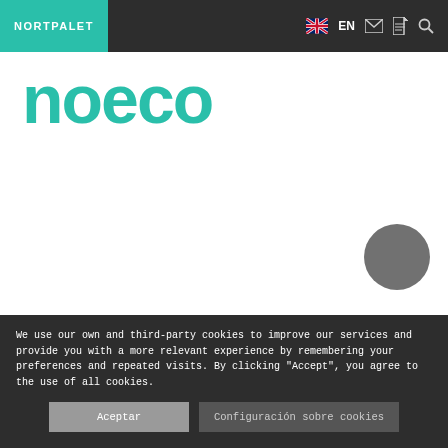NORTPALET | EN
[Figure (logo): Noeco logo in teal/green color]
[Figure (other): Grey circular button on white background]
"Sometimes, the end is just the beginning of something new"
We use our own and third-party cookies to improve our services and provide you with a more relevant experience by remembering your preferences and repeated visits. By clicking "Accept", you agree to the use of all cookies.
Aceptar | Configuración sobre cookies